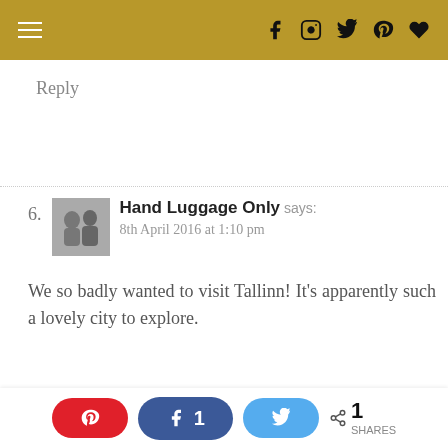Navigation menu and social icons (Facebook, Instagram, Twitter, Pinterest, Heart) on gold bar
Reply
6. Hand Luggage Only says:
8th April 2016 at 1:10 pm
We so badly wanted to visit Tallinn! It's apparently such a lovely city to explore.
This website uses cookies to improve your experience.
We'll assume you're ok with this, but you can opt-out if
Pinterest share | Facebook share 1 | Twitter share | 1 SHARES